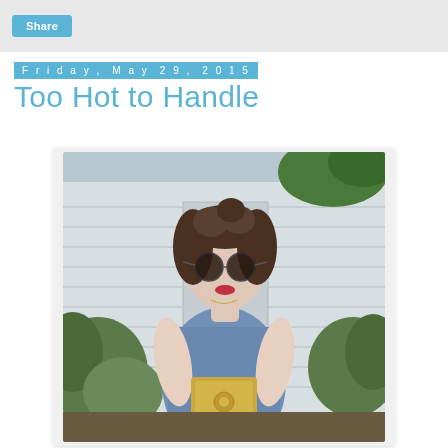Share
Friday, May 29, 2015
Too Hot to Handle
[Figure (photo): Young woman with round sunglasses and curly hair, wearing a blue denim dress and holding a gold ornate phone case, standing in front of a white wooden shed with green bushes in the background.]